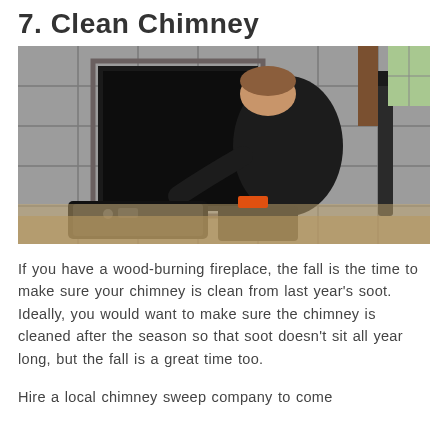7. Clean Chimney
[Figure (photo): A chimney sweep technician dressed in black crouching in front of a fireplace opening with tools and equipment bags on the floor around them. The fireplace has grey tile surround and stone interior.]
If you have a wood-burning fireplace, the fall is the time to make sure your chimney is clean from last year's soot. Ideally, you would want to make sure the chimney is cleaned after the season so that soot doesn't sit all year long, but the fall is a great time too.
Hire a local chimney sweep company to come